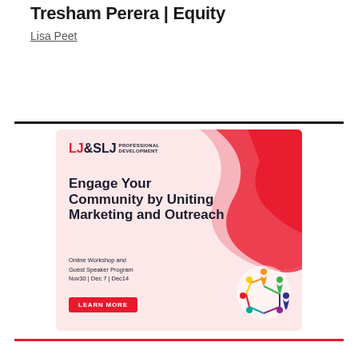Tresham Perera | Equity
Lisa Peet
[Figure (infographic): LJ&SLJ Professional Development advertisement promoting 'Engage Your Community by Uniting Marketing and Outreach' Online Workshop and Guest Speaker Program on Nov30 | Dec 7 | Dec14 with a Learn More button and colorful people icon.]